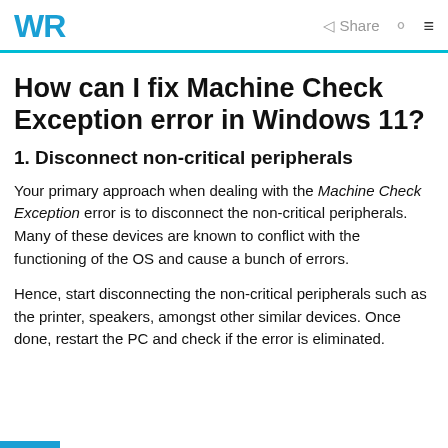WR | Share
How can I fix Machine Check Exception error in Windows 11?
1. Disconnect non-critical peripherals
Your primary approach when dealing with the Machine Check Exception error is to disconnect the non-critical peripherals. Many of these devices are known to conflict with the functioning of the OS and cause a bunch of errors.
Hence, start disconnecting the non-critical peripherals such as the printer, speakers, amongst other similar devices. Once done, restart the PC and check if the error is eliminated.